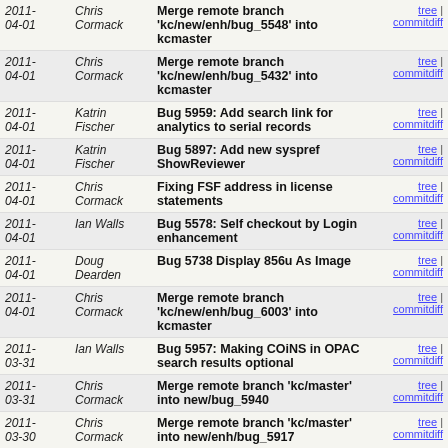| Date | Author | Commit Message | Links |
| --- | --- | --- | --- |
| 2011-04-01 | Chris Cormack | Merge remote branch 'kc/new/enh/bug_5548' into kcmaster | tree | commitdiff |
| 2011-04-01 | Chris Cormack | Merge remote branch 'kc/new/enh/bug_5432' into kcmaster | tree | commitdiff |
| 2011-04-01 | Katrin Fischer | Bug 5959: Add search link for analytics to serial records | tree | commitdiff |
| 2011-04-01 | Katrin Fischer | Bug 5897: Add new syspref ShowReviewer | tree | commitdiff |
| 2011-04-01 | Chris Cormack | Fixing FSF address in license statements | tree | commitdiff |
| 2011-04-01 | Ian Walls | Bug 5578: Self checkout by Login enhancement | tree | commitdiff |
| 2011-04-01 | Doug Dearden | Bug 5738 Display 856u As Image | tree | commitdiff |
| 2011-04-01 | Chris Cormack | Merge remote branch 'kc/new/enh/bug_6003' into kcmaster | tree | commitdiff |
| 2011-03-31 | Ian Walls | Bug 5957: Making COiNS in OPAC search results optional | tree | commitdiff |
| 2011-03-31 | Chris Cormack | Merge remote branch 'kc/master' into new/bug_5940 | tree | commitdiff |
| 2011-03-30 | Chris Cormack | Merge remote branch 'kc/master' into new/enh/bug_5917 | tree | commitdiff |
| 2011-03-30 | Ian Walls | Bug 5548: Hard Due Dates Circ Rule | tree | commitdiff |
| 2011-03-30 | Chris Cormack | Merge remote branch 'kc/new/bug_5940' into kcmaster | tree | commitdiff |
| 2011- | Marcelo de | Bug 5697: Add pref | tree | commitdiff |